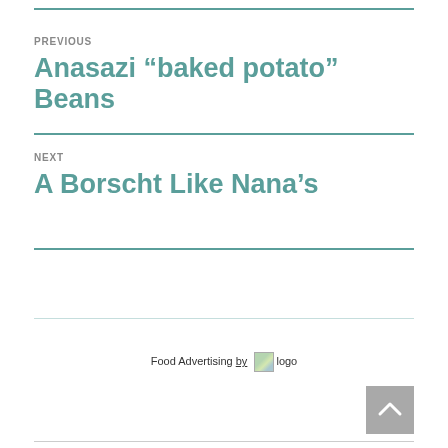PREVIOUS
Anasazi “baked potato” Beans
NEXT
A Borscht Like Nana’s
Food Advertising by logo